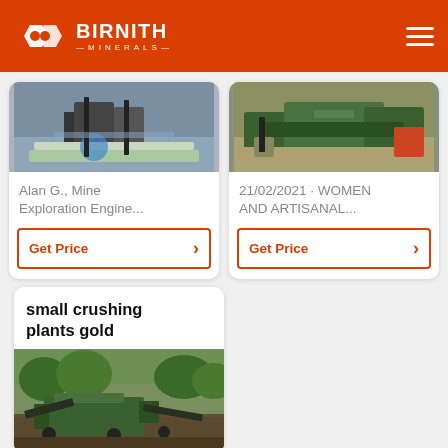BIRNITH MINERALS
[Figure (photo): Mining or industrial plant interior with machinery and gravel]
Alan G., Mine Exploration Engine...
[Figure (photo): Green mobile crushing/screening plant at an outdoor site]
21/02/2021 · WOMEN AND ARTISANAL...
small crushing plants gold
[Figure (photo): Green mobile crushing plant in a field with trees in background]